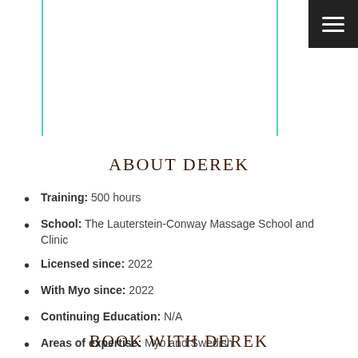[Figure (other): Two vertical teal lines framing a portrait photo area at the top of the page, with a hamburger menu button in the top-right corner]
ABOUT DEREK
Training: 500 hours
School: The Lauterstein-Conway Massage School and Clinic
Licensed since: 2022
With Myo since: 2022
Continuing Education: N/A
Areas of expertise: Myo and Swedish
BOOK WITH DEREK